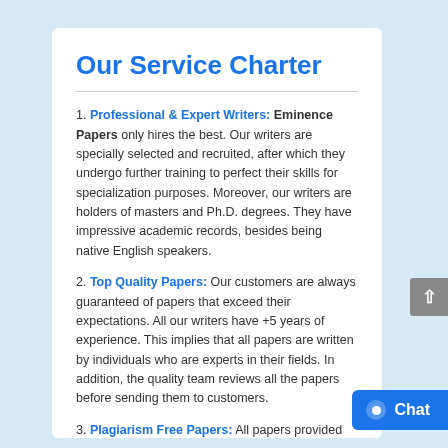Our Service Charter
1. Professional & Expert Writers: Eminence Papers only hires the best. Our writers are specially selected and recruited, after which they undergo further training to perfect their skills for specialization purposes. Moreover, our writers are holders of masters and Ph.D. degrees. They have impressive academic records, besides being native English speakers.
2. Top Quality Papers: Our customers are always guaranteed of papers that exceed their expectations. All our writers have +5 years of experience. This implies that all papers are written by individuals who are experts in their fields. In addition, the quality team reviews all the papers before sending them to customers.
3. Plagiarism Free Papers: All papers provided by